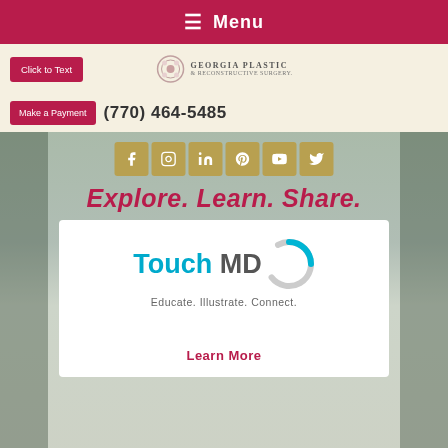≡ Menu
[Figure (logo): Georgia Plastic & Reconstructive Surgery logo with circular emblem]
Click to Text
(770) 464-5485
Make a Payment
[Figure (infographic): Social media icons: Facebook, Instagram, LinkedIn, Pinterest, YouTube, Twitter on golden square backgrounds]
Explore. Learn. Share.
[Figure (logo): TouchMD logo with teal Touch text, MD in gray, and circular arc graphic]
Educate. Illustrate. Connect.
Learn More